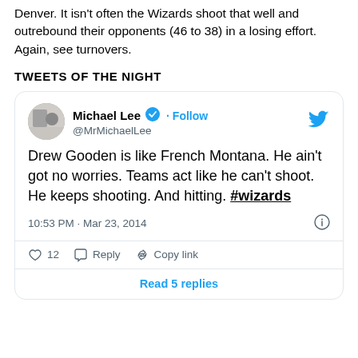Denver. It isn't often the Wizards shoot that well and outrebound their opponents (46 to 38) in a losing effort. Again, see turnovers.
TWEETS OF THE NIGHT
[Figure (screenshot): Embedded tweet from @MrMichaelLee (Michael Lee, verified) saying 'Drew Gooden is like French Montana. He ain't got no worries. Teams act like he can't shoot. He keeps shooting. And hitting. #wizards' posted at 10:53 PM · Mar 23, 2014 with 12 likes, Reply and Copy link actions, and a 'Read 5 replies' button.]